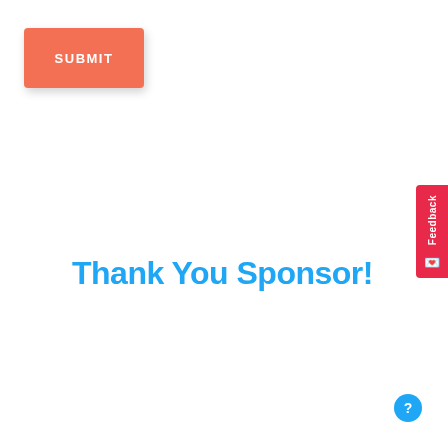[Figure (screenshot): Orange/coral submit button with white bold uppercase text 'SUBMIT']
Thank You Sponsor!
[Figure (other): Red vertical feedback tab on the right edge with 'Feedback' text rotated and an envelope/face icon]
[Figure (other): Blue circular help/question mark button in the bottom right corner]